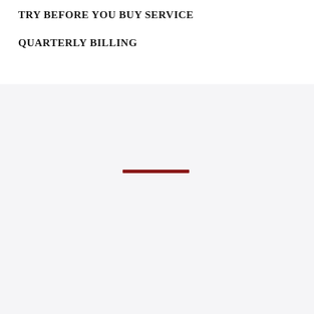TRY BEFORE YOU BUY SERVICE
QUARTERLY BILLING
[Figure (other): A dark red horizontal bar/line centered in the lower gray section of the page]